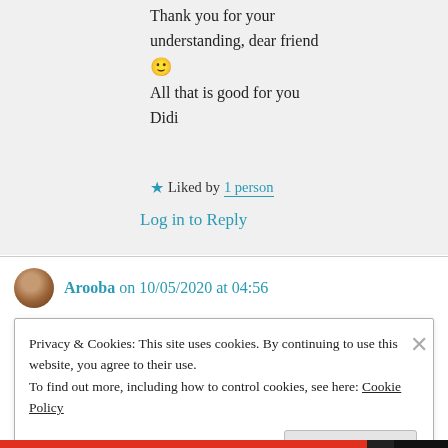Thank you for your understanding, dear friend 🙂
All that is good for you
Didi
★ Liked by 1 person
Log in to Reply
Arooba on 10/05/2020 at 04:56
Privacy & Cookies: This site uses cookies. By continuing to use this website, you agree to their use.
To find out more, including how to control cookies, see here: Cookie Policy
Close and accept